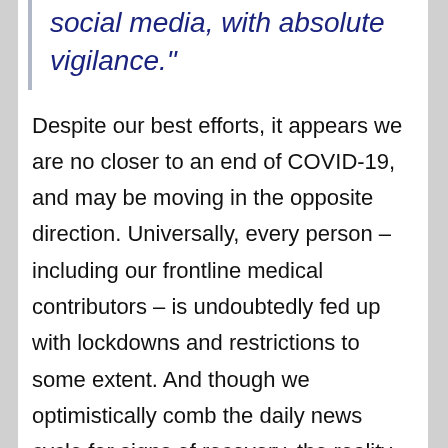social media, with absolute vigilance."
Despite our best efforts, it appears we are no closer to an end of COVID-19, and may be moving in the opposite direction. Universally, every person – including our frontline medical contributors – is undoubtedly fed up with lockdowns and restrictions to some extent. And though we optimistically comb the daily news cycle for signs of recovery, the reality is that this virus is indifferent to our feelings of “quarantine fatigue,” politics, or economics, and will persist